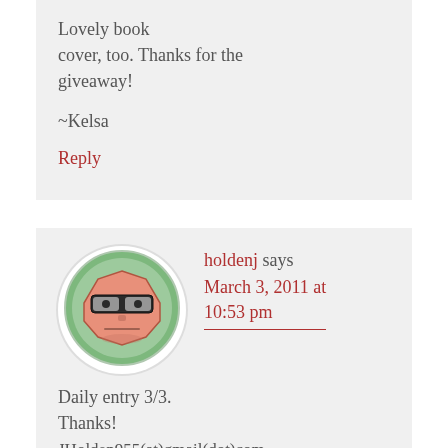Lovely book cover, too. Thanks for the giveaway!
~Kelsa
Reply
[Figure (illustration): Avatar image: cartoon face with sunglasses on green circular background]
holdenj says
March 3, 2011 at 10:53 pm
Daily entry 3/3. Thanks! JHolden955(at)gmail(dot)com